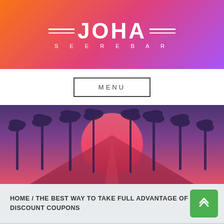[Figure (logo): JOHA SEEREBAR logo with decorative horizontal lines on gradient orange-to-purple background]
MENU
[Figure (illustration): Retro sunset scene with palm trees silhouetted against a large pink/red sun, purple-blue sky, and a road/hill perspective in the center]
HOME /  THE BEST WAY TO TAKE FULL ADVANTAGE OF YOUR DISCOUNT COUPONS